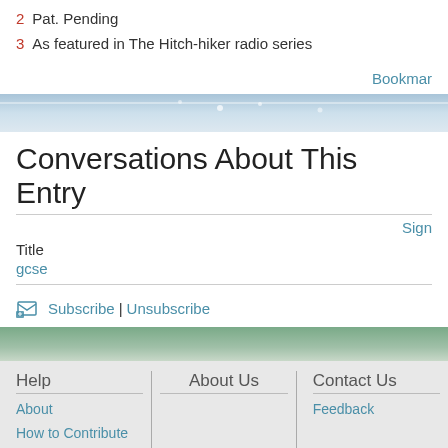2 Pat. Pending
3 As featured in The Hitch-hiker radio series
Bookmark
[Figure (photo): Decorative sky/clouds banner image]
Conversations About This Entry
Sign
Title
gcse
Subscribe | Unsubscribe
[Figure (photo): Decorative nature/landscape banner image]
Help
About Us
Contact Us
About
How to Contribute
FAQs
Soapbox
Feedback